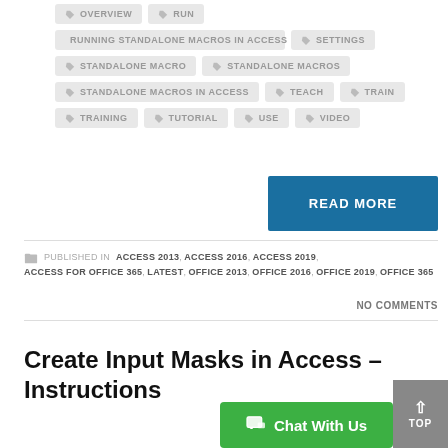OVERVIEW
RUN
RUNNING STANDALONE MACROS IN ACCESS
SETTINGS
STANDALONE MACRO
STANDALONE MACROS
STANDALONE MACROS IN ACCESS
TEACH
TRAIN
TRAINING
TUTORIAL
USE
VIDEO
READ MORE
PUBLISHED IN ACCESS 2013, ACCESS 2016, ACCESS 2019, ACCESS FOR OFFICE 365, LATEST, OFFICE 2013, OFFICE 2016, OFFICE 2019, OFFICE 365
NO COMMENTS
Create Input Masks in Access – Instructions
Chat With Us